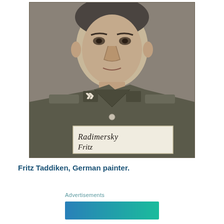[Figure (photo): Black and white mug shot photograph of a man in a military uniform with SS insignia on the collar. He is holding a sign that reads 'Radimersky Fritz'. The photo is a historical World War II era identification photograph.]
Fritz Taddiken, German painter.
Advertisements